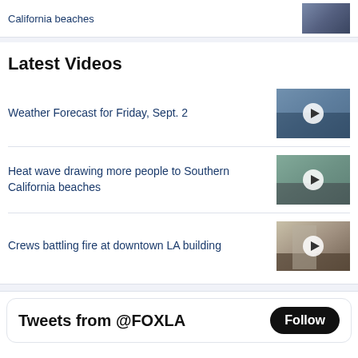California beaches
[Figure (photo): Thumbnail of crowded California beach]
Latest Videos
Weather Forecast for Friday, Sept. 2
[Figure (photo): Video thumbnail with play button - weather forecast]
Heat wave drawing more people to Southern California beaches
[Figure (photo): Video thumbnail with play button - beach scene]
Crews battling fire at downtown LA building
[Figure (photo): Video thumbnail with play button - fire and smoke]
Tweets from @FOXLA